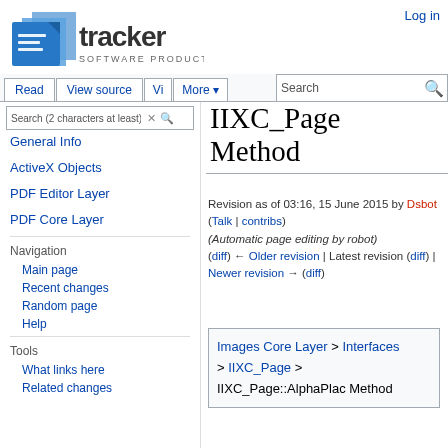[Figure (logo): Tracker Software Products logo — blue document/book icon with 'tracker' text and 'SOFTWARE PRODUCTS' subtitle]
Log in
Read  View source  Vi  More
Search (2 characters at least)
IIXC_Page Method
Revision as of 03:16, 15 June 2015 by Dsbot (Talk | contribs) (Automatic page editing by robot) (diff) ← Older revision | Latest revision (diff) | Newer revision → (diff)
General Info
ActiveX Objects
PDF Editor Layer
PDF Core Layer
Navigation
Main page
Recent changes
Random page
Help
Tools
What links here
Related changes
Images Core Layer > Interfaces > IIXC_Page > IIXC_Page::AlphaPlac Method